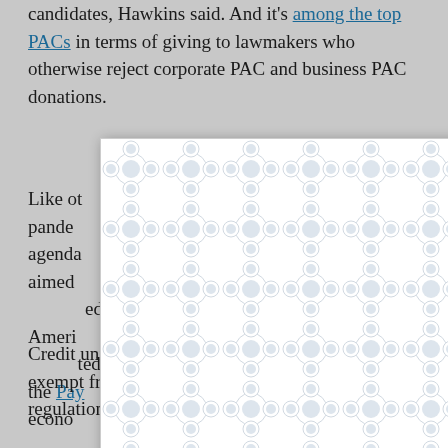candidates, Hawkins said. And it's among the top PACs in terms of giving to lawmakers who otherwise reject corporate PAC and business PAC donations.
[Figure (other): A modal/popup overlay with a decorative pattern (interlocking circles/bubbles in white and light gray) covering the middle portion of the article text, with an X close button in the top right corner.]
Like other unions, the CUNA PAC during the pandemic has pushed for an expansive legislative agenda that includes economic relief measures aimed at working-class Americans. CUNA supported the Paycheck Protection Program and other economic...
Credit unions also argue that they should be exempt from some of the financial services regulations that apply to for-profit banks.